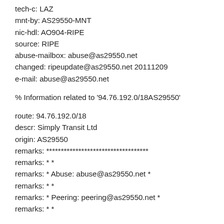tech-c: LAZ
mnt-by: AS29550-MNT
nic-hdl: AO904-RIPE
source: RIPE
abuse-mailbox: abuse@as29550.net
changed: ripeupdate@as29550.net 20111209
e-mail: abuse@as29550.net
% Information related to '94.76.192.0/18AS29550'
route: 94.76.192.0/18
descr: Simply Transit Ltd
origin: AS29550
remarks: ***********************************
remarks: * *
remarks: * Abuse: abuse@as29550.net *
remarks: * *
remarks: * Peering: peering@as29550.net *
remarks: * *